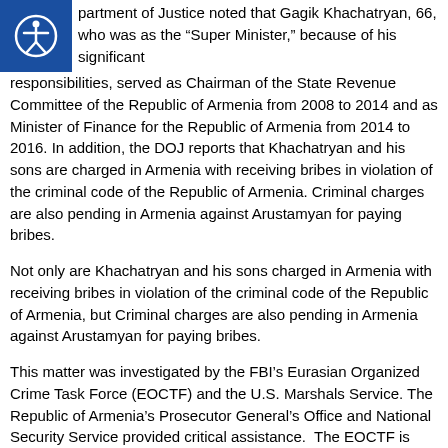[Figure (logo): Blue square icon with white accessibility person symbol (circle head, outstretched arms and legs)]
partment of Justice noted that Gagik Khachatryan, 66, who was as the “Super Minister,” because of his significant responsibilities, served as Chairman of the State Revenue Committee of the Republic of Armenia from 2008 to 2014 and as Minister of Finance for the Republic of Armenia from 2014 to 2016. In addition, the DOJ reports that Khachatryan and his sons are charged in Armenia with receiving bribes in violation of the criminal code of the Republic of Armenia. Criminal charges are also pending in Armenia against Arustamyan for paying bribes.
Not only are Khachatryan and his sons charged in Armenia with receiving bribes in violation of the criminal code of the Republic of Armenia, but Criminal charges are also pending in Armenia against Arustamyan for paying bribes.
This matter was investigated by the FBI’s Eurasian Organized Crime Task Force (EOCTF) and the U.S. Marshals Service. The Republic of Armenia’s Prosecutor General’s Office and National Security Service provided critical assistance. The EOCTF is composed of multiple law enforcement agencies including the FBI, IRS-Criminal Investigation, the U.S. Postal Inspection Service, the Glendale Police Department, the Los Angeles Police Department, and the Los Angeles County Sheriff’s Department.